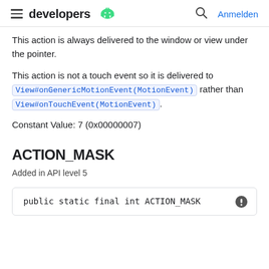developers  Anmelden
This action is always delivered to the window or view under the pointer.
This action is not a touch event so it is delivered to View#onGenericMotionEvent(MotionEvent) rather than View#onTouchEvent(MotionEvent).
Constant Value: 7 (0x00000007)
ACTION_MASK
Added in API level 5
public static final int ACTION_MASK